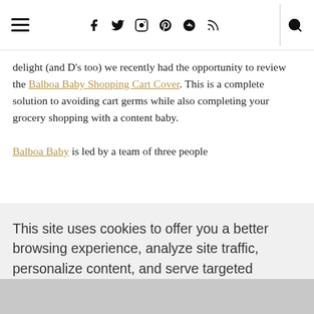Navigation bar with hamburger menu, social icons (Facebook, Twitter, Instagram, Pinterest, Google+, RSS), and search icon
delight (and D’s too) we recently had the opportunity to review the Balboa Baby Shopping Cart Cover. This is a complete solution to avoiding cart germs while also completing your grocery shopping with a content baby.

Balboa Baby is led by a team of three people
This site uses cookies to offer you a better browsing experience, analyze site traffic, personalize content, and serve targeted advertisements. If you continue to use this site, you consent to our use of cookies. Learn more
I AGREE